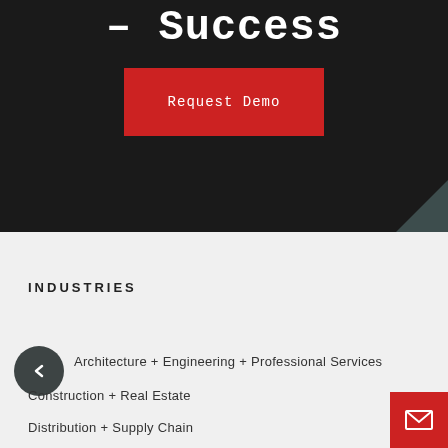– Success
Request Demo
INDUSTRIES
Architecture + Engineering + Professional Services
Construction + Real Estate
Distribution + Supply Chain